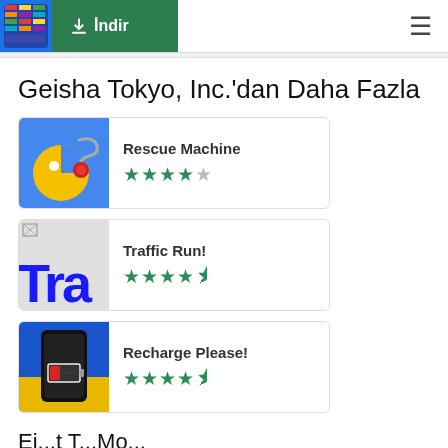İndir (Download button) | menu
Geisha Tokyo, Inc.'dan Daha Fazla
[Figure (screenshot): Rescue Machine app icon - yellow pac-man like character with red ball on blue background]
Rescue Machine ★★★★☆
[Figure (screenshot): Traffic Run! app icon - broken image with 'Tra' text in blue on grey background]
Traffic Run! ★★★★½
[Figure (screenshot): Recharge Please! app icon - phone with low battery on blue/yellow background]
Recharge Please! ★★★★½
Ei...t T...Mo...